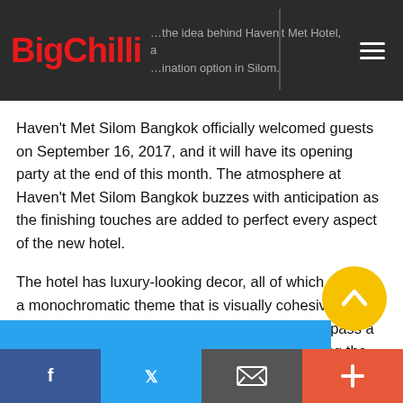BigChilli — the idea behind Haven't Met Hotel, a destination option in Silom.
Haven't Met Silom Bangkok officially welcomed guests on September 16, 2017, and it will have its opening party at the end of this month. The atmosphere at Haven't Met Silom Bangkok buzzes with anticipation as the finishing touches are added to perfect every aspect of the new hotel.
The hotel has luxury-looking decor, all of which sticks to a monochromatic theme that is visually cohesive and looks both polished and chic. The rooms encompass a minimalistic vibe, with accents of blue highlighting the clean-cut interior.
The most noteworthy aspect will arguably be the rooftop pool and restaurant situated on the ninth floor. In addition
Facebook | Twitter | Email | +